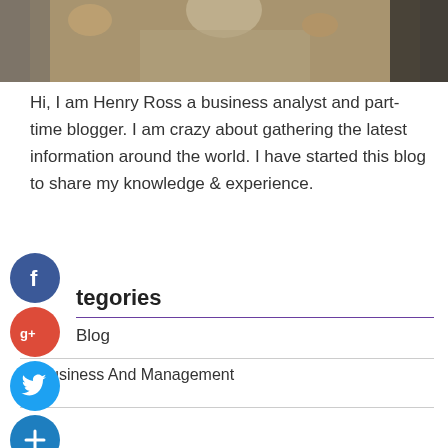[Figure (photo): Top portion of a photo showing a person in a beige/khaki shirt with hands partially visible, dark background]
Hi, I am Henry Ross a business analyst and part-time blogger. I am crazy about gathering the latest information around the world. I have started this blog to share my knowledge & experience.
[Figure (infographic): Social media icons: Facebook (blue circle with f), Google+ (red circle with g+), Twitter (light blue circle with bird), and a dark blue circle with plus sign]
tegories
Blog
Business And Management